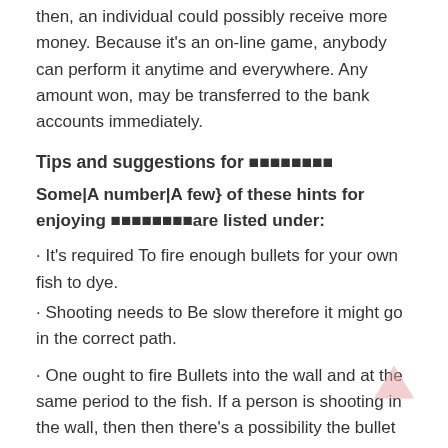then, an individual could possibly receive more money. Because it's an on-line game, anybody can perform it anytime and everywhere. Any amount won, may be transferred to the bank accounts immediately.
Tips and suggestions for ????????
Some|A number|A few} of these hints for enjoying ????????are listed under:
· It's required To fire enough bullets for your own fish to dye.
· Shooting needs to Be slow therefore it might go in the correct path.
· One ought to fire Bullets into the wall and at the same period to the fish. If a person is shooting in the wall, then then there's a possibility the bullet tends to bounce straight to the fish, and the bass could blossom.
· For small fish, Fewer bullets should be fired. The more